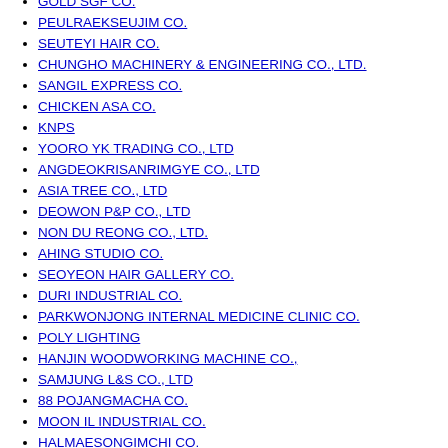GOLD SGF CO.
PEULRAEKSEUJIM CO.
SEUTEYI HAIR CO.
CHUNGHO MACHINERY & ENGINEERING CO., LTD.
SANGIL EXPRESS CO.
CHICKEN ASA CO.
KNPS
YOORO YK TRADING CO., LTD
ANGDEOKRISANRIMGYE CO., LTD
ASIA TREE CO., LTD
DEOWON P&P CO., LTD
NON DU REONG CO., LTD.
AHING STUDIO CO.
SEOYEON HAIR GALLERY CO.
DURI INDUSTRIAL CO.
PARKWONJONG INTERNAL MEDICINE CLINIC CO.
POLY LIGHTING
HANJIN WOODWORKING MACHINE CO.,
SAMJUNG L&S CO., LTD
88 POJANGMACHA CO.
MOON IL INDUSTRIAL CO.
HALMAESONGIMCHI CO.
APPLE INNOVATION CO., LTD
CHUNGNAM PLASTIC CO.
WOOSUNG GAS GAS STATION CO.